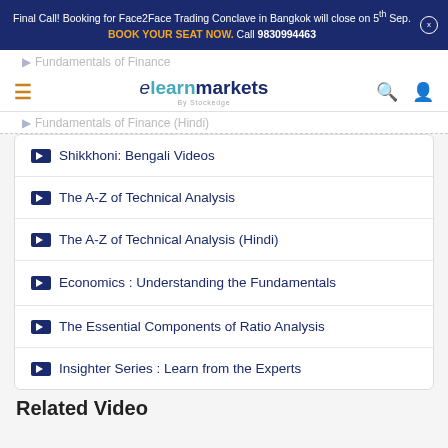Final Call! Booking for Face2Face Trading Conclave in Bangkok will close on 5th Sep. BOOK YOUR SEAT NOW. Call 9830994463
[Figure (logo): elearnmarkets by Stockedge logo with hamburger menu, search icon, and user icon]
Shikkhoni: Bengali Videos
The A-Z of Technical Analysis
The A-Z of Technical Analysis (Hindi)
Economics : Understanding the Fundamentals
The Essential Components of Ratio Analysis
Insighter Series : Learn from the Experts
Related Video